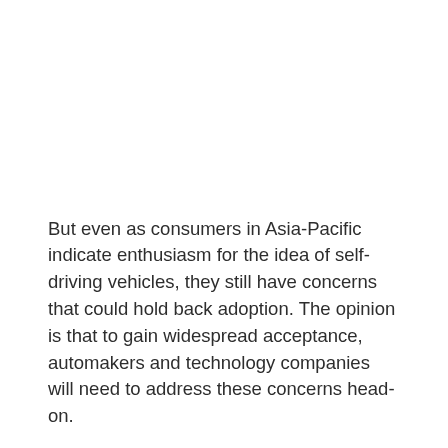But even as consumers in Asia-Pacific indicate enthusiasm for the idea of self-driving vehicles, they still have concerns that could hold back adoption. The opinion is that to gain widespread acceptance, automakers and technology companies will need to address these concerns head-on.